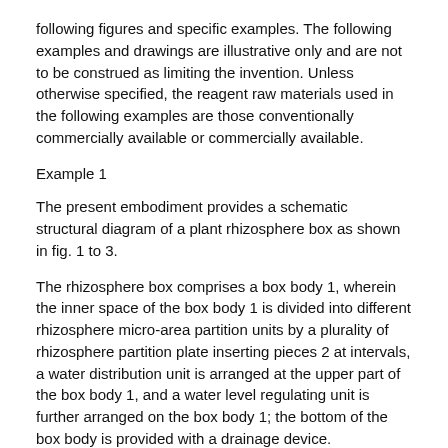following figures and specific examples. The following examples and drawings are illustrative only and are not to be construed as limiting the invention. Unless otherwise specified, the reagent raw materials used in the following examples are those conventionally commercially available or commercially available.
Example 1
The present embodiment provides a schematic structural diagram of a plant rhizosphere box as shown in fig. 1 to 3.
The rhizosphere box comprises a box body 1, wherein the inner space of the box body 1 is divided into different rhizosphere micro-area partition units by a plurality of rhizosphere partition plate inserting pieces 2 at intervals, a water distribution unit is arranged at the upper part of the box body 1, and a water level regulating unit is further arranged on the box body 1; the bottom of the box body is provided with a drainage device.
In this embodiment, each box body 1 is separated from the plant root system in different distance areas by 8 rhizosphere partition plate inserting pieces, and the